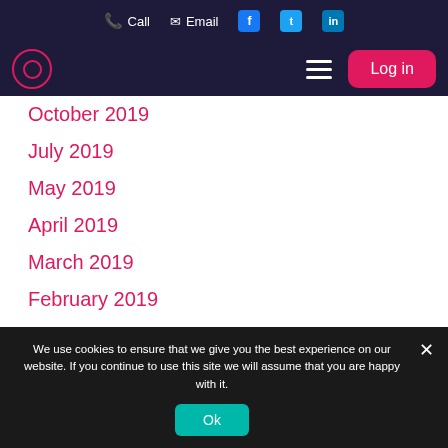Call  Email  [Facebook] [Twitter] [LinkedIn]
[Logo] [Menu] Log in
October 2019
July 2019
May 2019
April 2019
March 2019
February 2019
December 2018
November 2018
We use cookies to ensure that we give you the best experience on our website. If you continue to use this site we will assume that you are happy with it.
Ok